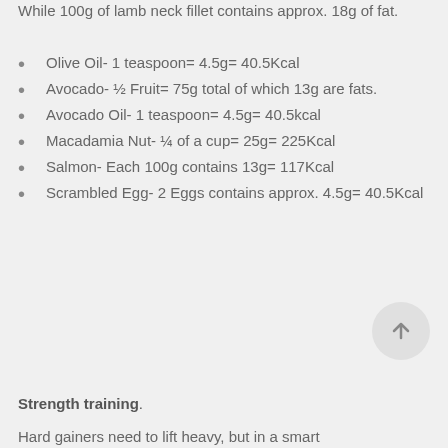While 100g of lamb neck fillet contains approx. 18g of fat.
Olive Oil- 1 teaspoon= 4.5g= 40.5Kcal
Avocado- ½ Fruit= 75g total of which 13g are fats.
Avocado Oil- 1 teaspoon= 4.5g= 40.5kcal
Macadamia Nut- ¼ of a cup= 25g= 225Kcal
Salmon- Each 100g contains 13g= 117Kcal
Scrambled Egg- 2 Eggs contains approx. 4.5g= 40.5Kcal
Strength training.
Hard gainers need to lift heavy, but in a smart